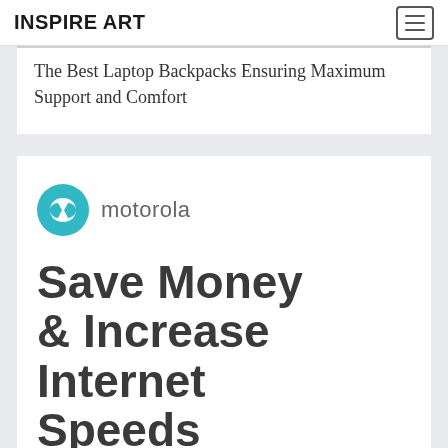INSPIRE ART
The Best Laptop Backpacks Ensuring Maximum Support and Comfort
[Figure (logo): Motorola logo: teal circle with white stylized M batwing symbol, followed by the word 'motorola' in grey sans-serif text]
Save Money & Increase Internet Speeds